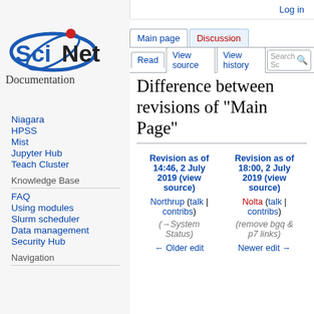Log in
[Figure (logo): SciNet logo with red dot and 'Documentation' text below]
Niagara
HPSS
Mist
Jupyter Hub
Teach Cluster
Knowledge Base
FAQ
Using modules
Slurm scheduler
Data management
Security Hub
Navigation
Difference between revisions of "Main Page"
| Revision as of 14:46, 2 July 2019 (view source) | Revision as of 18:00, 2 July 2019 (view source) |
| --- | --- |
| Northrup (talk | contribs) | Nolta (talk | contribs) |
| (→System Status) | (remove bgq & p7 links) |
| ← Older edit | Newer edit → |